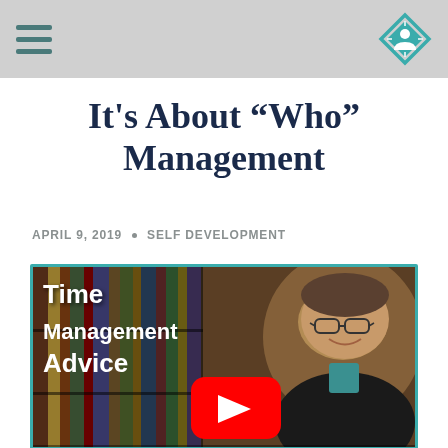navigation header with hamburger menu and logo
It’s About “Who” Management
APRIL 9, 2019 • SELF DEVELOPMENT
[Figure (screenshot): Video thumbnail showing 'Time Management Advice' text overlay with YouTube play button and a man smiling, set against a bookshelf background]